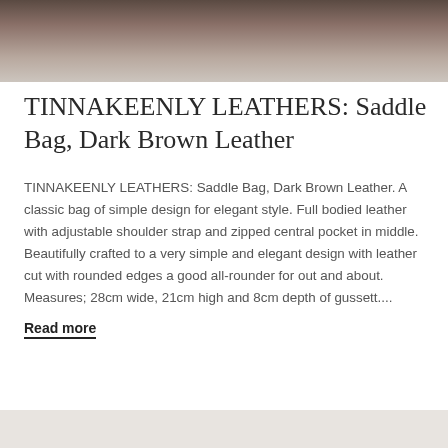[Figure (photo): Partial photograph of a dark brown leather saddle bag, cropped at the top of the page.]
TINNAKEENLY LEATHERS: Saddle Bag, Dark Brown Leather
TINNAKEENLY LEATHERS: Saddle Bag, Dark Brown Leather. A classic bag of simple design for elegant style. Full bodied leather with adjustable shoulder strap and zipped central pocket in middle. Beautifully crafted to a very simple and elegant design with leather cut with rounded edges a good all-rounder for out and about. Measures; 28cm wide, 21cm high and 8cm depth of gussett....
Read more
[Figure (photo): Bottom edge of another product photograph, partially visible at the bottom of the page.]